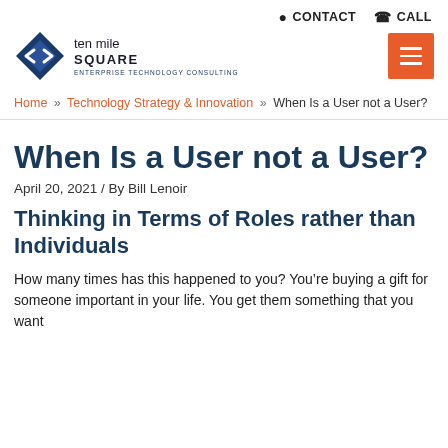CONTACT  CALL
[Figure (logo): Ten Mile Square diamond logo with text 'ten mile SQUARE' and tagline 'ENTERPRISE TECHNOLOGY CONSULTING', plus orange hamburger menu button]
Home » Technology Strategy & Innovation » When Is a User not a User?
When Is a User not a User?
April 20, 2021 / By Bill Lenoir
Thinking in Terms of Roles rather than Individuals
How many times has this happened to you? You're buying a gift for someone important in your life. You get them something that you want...